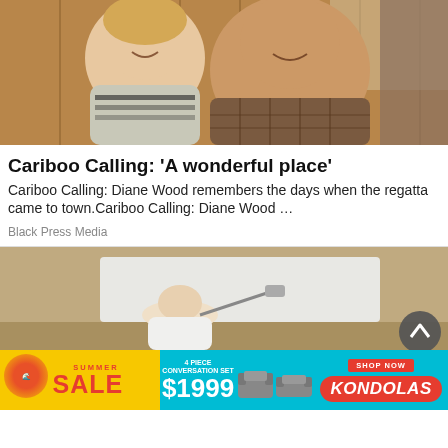[Figure (photo): Two smiling people, an older woman with blonde hair and a larger man in a plaid shirt, seated in front of a wooden wall background that appears to be a bar/pub setting.]
Cariboo Calling: ‘A wonderful place’
Cariboo Calling: Diane Wood remembers the days when the regatta came to town.Cariboo Calling: Diane Wood …
Black Press Media
[Figure (photo): A bald person painting a wall white in a room with beige walls.]
[Figure (other): Advertisement banner: Kondolas summer sale - 4 piece conversation set $1999]